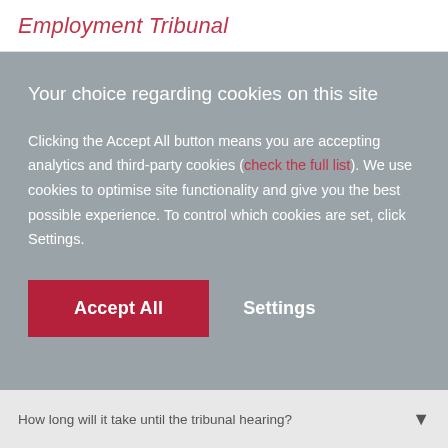Employment Tribunal
Your choice regarding cookies on this site
Clicking the Accept All button means you are accepting analytics and third-party cookies (check the full list). We use cookies to optimise site functionality and give you the best possible experience. To control which cookies are set, click Settings.
Accept All   Settings
How long will it take until the tribunal hearing?